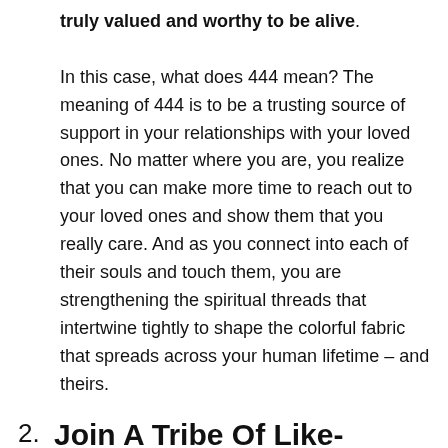truly valued and worthy to be alive. In this case, what does 444 mean? The meaning of 444 is to be a trusting source of support in your relationships with your loved ones. No matter where you are, you realize that you can make more time to reach out to your loved ones and show them that you really care. And as you connect into each of their souls and touch them, you are strengthening the spiritual threads that intertwine tightly to shape the colorful fabric that spreads across your human lifetime – and theirs.
2. Join A Tribe Of Like-Minded Souls For Support
When you are seeing 444 repeatedly on your path,